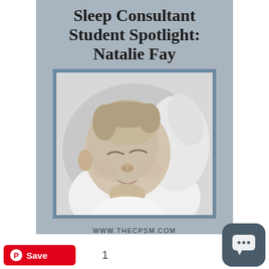Sleep Consultant Student Spotlight: Natalie Fay
[Figure (photo): Black and white photograph of a sleeping newborn baby, eyes closed, arm raised, wearing white clothing]
WWW.THECPSM.COM
[Figure (other): Pinterest Save button (red), number 1, and a dark blue-grey chat bubble icon button at bottom]